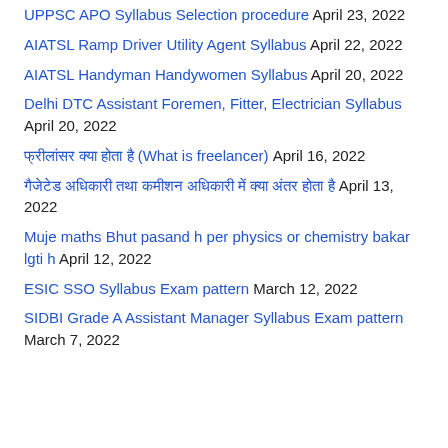UPPSC APO Syllabus Selection procedure April 23, 2022
AIATSL Ramp Driver Utility Agent Syllabus April 22, 2022
AIATSL Handyman Handywomen Syllabus April 20, 2022
Delhi DTC Assistant Foremen, Fitter, Electrician Syllabus April 20, 2022
फ्रीलांसर क्या होता है (What is freelancer) April 16, 2022
गैजेटेड अधिकारी तथा कमीशन अधिकारी में क्या अंतर होता है April 13, 2022
Muje maths Bhut pasand h per physics or chemistry bakar lgti h April 12, 2022
ESIC SSO Syllabus Exam pattern March 12, 2022
SIDBI Grade A Assistant Manager Syllabus Exam pattern March 7, 2022